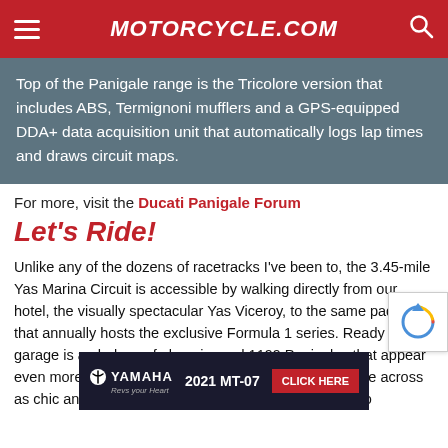MOTORCYCLE.COM
Top of the Panigale range is the Tricolore version that includes ABS, Termignoni mufflers and a GPS-equipped DDA+ data acquisition unit that automatically logs lap times and draws circuit maps.
For more, visit the Ducati Panigale Forum
Let's Ride!
Unlike any of the dozens of racetracks I've been to, the 3.45-mile Yas Marina Circuit is accessible by walking directly from our hotel, the visually spectacular Yas Viceroy, to the same paddock that annually hosts the exclusive Formula 1 series. Ready in the garage is a phalanx of gleaming red 1199 Panigales that appear even more sinister than they look in pictures. They come across as chic and contemporary but without being derivative o
[Figure (screenshot): Yamaha 2021 MT-07 advertisement banner with CLICK HERE button]